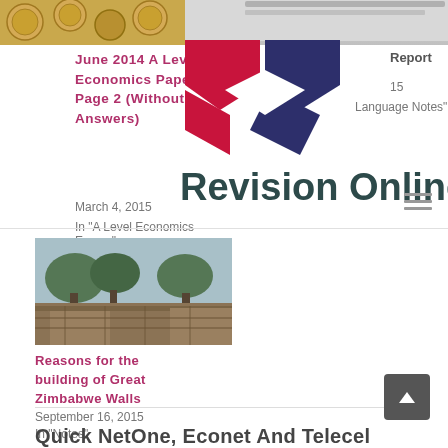[Figure (photo): Top left strip: gold coins background image]
[Figure (photo): Top right strip: pencil/ruler on desk background]
June 2014 A Level Economics Paper 3 Page 2 (Without Answers)
March 4, 2015
In "A Level Economics Exams"
Report
15
Language Notes"
[Figure (logo): Revision Online logo: red, navy blue geometric shapes forming letters RC above 'Revision Online' text in dark teal]
[Figure (photo): Great Zimbabwe Walls stone ruins with trees in background]
Reasons for the building of Great Zimbabwe Walls
September 16, 2015
In "Notes"
Quick NetOne, Econet And Telecel